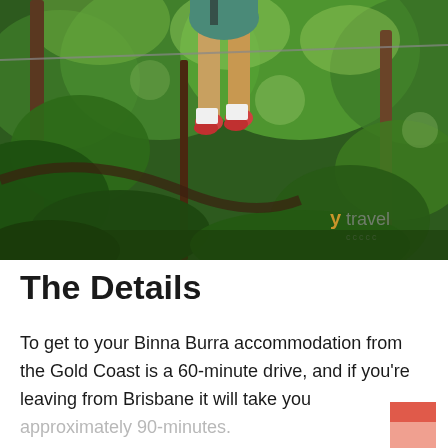[Figure (photo): A person on a zipline or suspended in a rainforest canopy, wearing teal shorts and red shoes, surrounded by dense green subtropical forest vegetation. A watermark reading 'ytravel' is visible in the lower right of the image.]
The Details
To get to your Binna Burra accommodation from the Gold Coast is a 60-minute drive, and if you're leaving from Brisbane it will take you approximately 90-minutes.